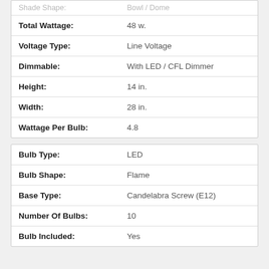| Property | Value |
| --- | --- |
| Shade Shape: | Bowl / Dome |
| Total Wattage: | 48 w. |
| Voltage Type: | Line Voltage |
| Dimmable: | With LED / CFL Dimmer |
| Height: | 14 in. |
| Width: | 28 in. |
| Wattage Per Bulb: | 4.8 |
| Property | Value |
| --- | --- |
| Bulb Type: | LED |
| Bulb Shape: | Flame |
| Base Type: | Candelabra Screw (E12) |
| Number Of Bulbs: | 10 |
| Bulb Included: | Yes |